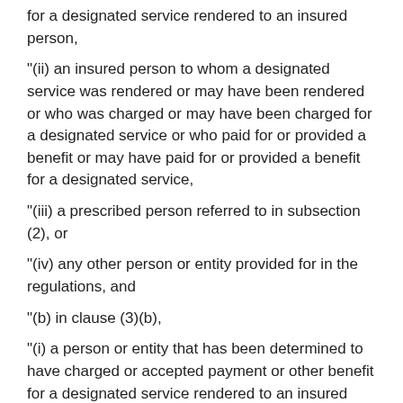for a designated service rendered to an insured person,
"(ii) an insured person to whom a designated service was rendered or may have been rendered or who was charged or may have been charged for a designated service or who paid for or provided a benefit or may have paid for or provided a benefit for a designated service,
"(iii) a prescribed person referred to in subsection (2), or
"(iv) any other person or entity provided for in the regulations, and
"(b) in clause (3)(b),
"(i) a person or entity that has been determined to have charged or accepted payment or other benefit for a designated service rendered to an insured person,
"(ii) an insured person to whom a designated service was rendered who has been determined to have been charged